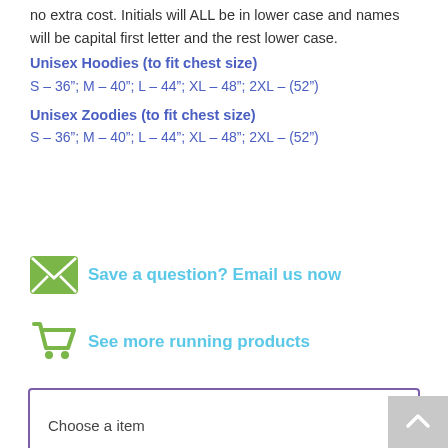no extra cost. Initials will ALL be in lower case and names will be capital first letter and the rest lower case.
Unisex Hoodies (to fit chest size)
S – 36"; M – 40"; L – 44"; XL – 48"; 2XL – (52")
Unisex Zoodies (to fit chest size)
S – 36"; M – 40"; L – 44"; XL – 48"; 2XL – (52")
Save a question? Email us now
See more running products
Choose a item